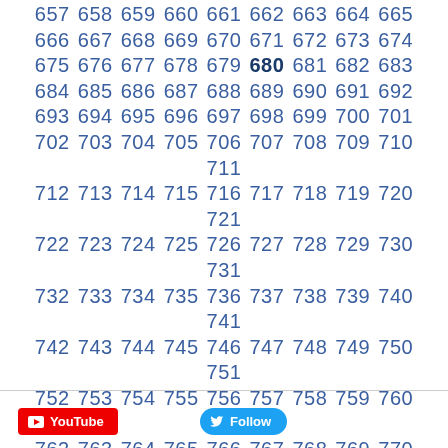657 658 659 660 661 662 663 664 665 666 667 668 669 670 671 672 673 674 675 676 677 678 679 680 681 682 683 684 685 686 687 688 689 690 691 692 693 694 695 696 697 698 699 700 701 702 703 704 705 706 707 708 709 710 711 712 713 714 715 716 717 718 719 720 721 722 723 724 725 726 727 728 729 730 731 732 733 734 735 736 737 738 739 740 741 742 743 744 745 746 747 748 749 750 751 752 753 754 755 756 757 758 759 760 761 762 763 764 765 766 767 768 769 770 771 772 773 774 775 776 777 778 779 780 781 782 783 784 785 786 787 788 789 790 791 792 793 794 795 796 797 798 799 800 801 802 803 804 805 806 807 808 809 810 811 812 813 814 815 816 817 818 819 820 821 822 823 824 825 826 827 828 829 ...
[Figure (other): YouTube subscribe button and Twitter Follow button in the footer]